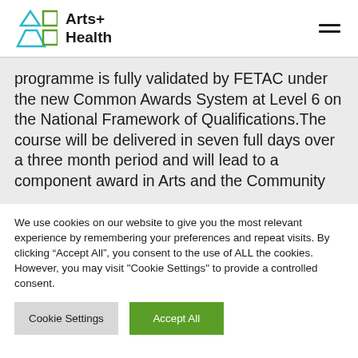Arts+ Health
programme is fully validated by FETAC under the new Common Awards System at Level 6 on the National Framework of Qualifications.The course will be delivered in seven full days over a three month period and will lead to a component award in Arts and the Community
We use cookies on our website to give you the most relevant experience by remembering your preferences and repeat visits. By clicking "Accept All", you consent to the use of ALL the cookies. However, you may visit "Cookie Settings" to provide a controlled consent.
Cookie Settings | Accept All